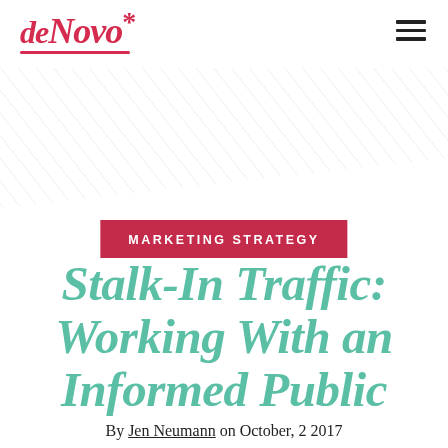deNovo* [logo with hamburger menu]
[Figure (logo): deNovo* brand logo in red italic serif font with underline, and hamburger menu icon top right]
MARKETING STRATEGY
Stalk-In Traffic: Working With an Informed Public
By Jen Neumann on October, 2 2017